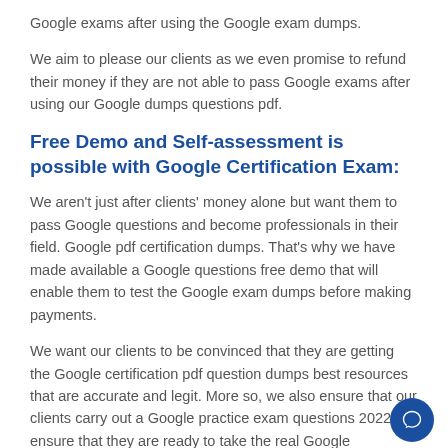Google exams after using the Google exam dumps.
We aim to please our clients as we even promise to refund their money if they are not able to pass Google exams after using our Google dumps questions pdf.
Free Demo and Self-assessment is possible with Google Certification Exam:
We aren't just after clients' money alone but want them to pass Google questions and become professionals in their field. Google pdf certification dumps. That's why we have made available a Google questions free demo that will enable them to test the Google exam dumps before making payments.
We want our clients to be convinced that they are getting the Google certification pdf question dumps best resources that are accurate and legit. More so, we also ensure that our clients carry out a Google practice exam questions 2022 to ensure that they are ready to take the real Google certification exam. The element Some text continues here...